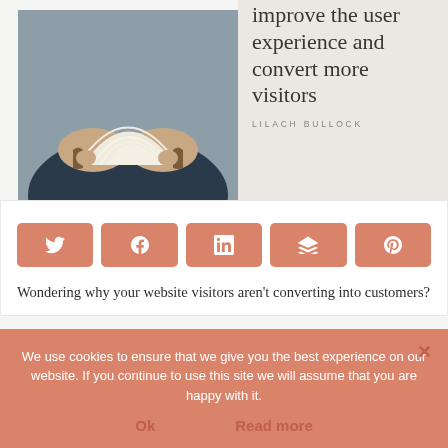[Figure (photo): Person holding an open book, viewed from above, hands visible fanning pages]
improve the user experience and convert more visitors
LILACH BULLOCK
[Figure (infographic): Five salmon/coral colored share buttons: Twitter, Facebook, LinkedIn, Buffer, Pinterest]
Wondering why your website visitors aren't converting into customers?
We use cookies to ensure that we give you the best experience on our website. If you continue to use this site we will assume that you are happy with it.
Ok
Read more